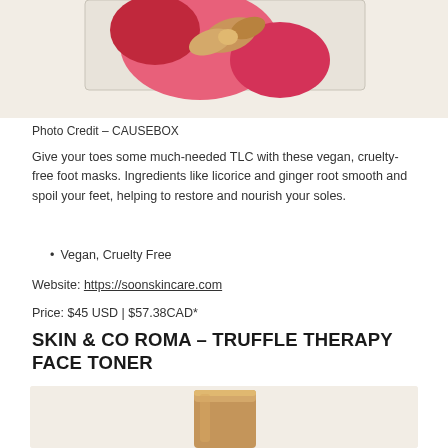[Figure (photo): Partial view of a pink and red gift box with a gold ribbon, on a light beige background]
Photo Credit – CAUSEBOX
Give your toes some much-needed TLC with these vegan, cruelty-free foot masks. Ingredients like licorice and ginger root smooth and spoil your feet, helping to restore and nourish your soles.
Vegan, Cruelty Free
Website: https://soonskincare.com
Price: $45 USD | $57.38CAD*
SKIN & CO ROMA – TRUFFLE THERAPY FACE TONER
[Figure (photo): Bottom portion of a gold cylindrical product container on a light beige background]